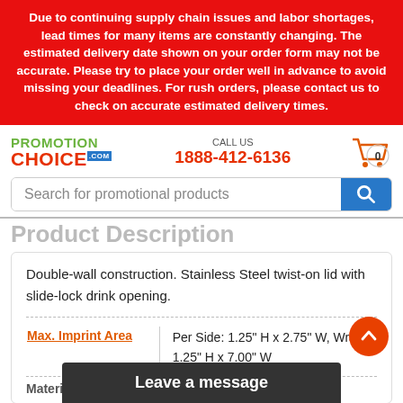Due to continuing supply chain issues and labor shortages, lead times for many items are constantly changing. The estimated delivery date shown on your order form may not be accurate. Please try to place your order well in advance to avoid missing your deadlines. For rush orders, please contact us to check on accurate estimated delivery times.
[Figure (logo): PromotionChoice.com logo with green PROMOTION and red CHOICE text]
CALL US 1888-412-6136
[Figure (other): Shopping cart icon with 0 items]
Search for promotional products
Product Description
Double-wall construction. Stainless Steel twist-on lid with slide-lock drink opening.
| Max. Imprint Area |  |
| --- | --- |
| Per Side: 1.25" H x 2.75" W, Wrap: 1.25" H x 7.00" W |  |
Material
Leave a message